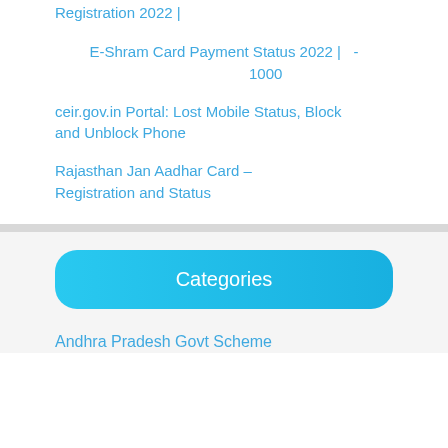Registration 2022 |
E-Shram Card Payment Status 2022 |   -  1000
ceir.gov.in Portal: Lost Mobile Status, Block and Unblock Phone
Rajasthan Jan Aadhar Card – Registration and Status
Categories
Andhra Pradesh Govt Scheme